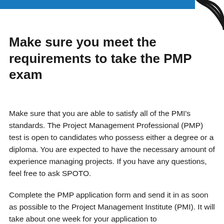[Figure (illustration): Blue horizontal bar at the top left and a dark curved arc shape at the top right, forming a decorative header element.]
Make sure you meet the requirements to take the PMP exam
Make sure that you are able to satisfy all of the PMI's standards. The Project Management Professional (PMP) test is open to candidates who possess either a degree or a diploma. You are expected to have the necessary amount of experience managing projects. If you have any questions, feel free to ask SPOTO.
Complete the PMP application form and send it in as soon as possible to the Project Management Institute (PMI). It will take about one week for your application to